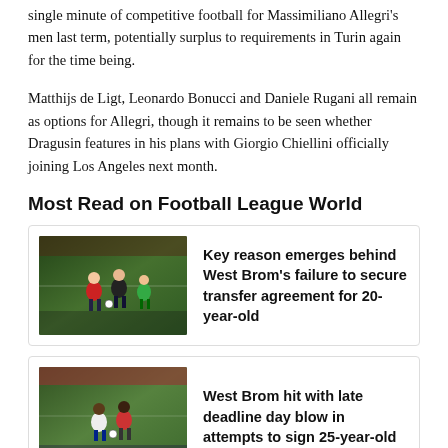single minute of competitive football for Massimiliano Allegri's men last term, potentially surplus to requirements in Turin again for the time being.
Matthijs de Ligt, Leonardo Bonucci and Daniele Rugani all remain as options for Allegri, though it remains to be seen whether Dragusin features in his plans with Giorgio Chiellini officially joining Los Angeles next month.
Most Read on Football League World
[Figure (photo): Football match action photo showing players in red and dark kits on a pitch]
Key reason emerges behind West Brom's failure to secure transfer agreement for 20-year-old
[Figure (photo): Football match action photo showing players in white and striped kits on a pitch with crowd in background]
West Brom hit with late deadline day blow in attempts to sign 25-year-old